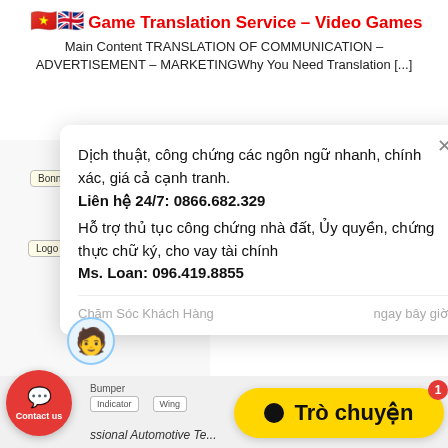Game Translation Service – Video Games
Main Content TRANSLATION OF COMMUNICATION – ADVERTISEMENT – MARKETINGWhy You Need Translation [...]
[Figure (screenshot): A popup chat widget overlay showing Vietnamese translation service advertisement text, with avatar, close button, and footer. Background shows a partial car diagram with labels: Bonnet, Logo, Bumper, Indicator, Wing.]
Dịch thuật, công chứng các ngôn ngữ nhanh, chính xác, giá cả cạnh tranh. Liên hệ 24/7: 0866.682.329 Hỗ trợ thủ tục công chứng nhà đất, Ủy quyền, chứng thực chữ ký, cho vay tài chính Ms. Loan: 096.419.8855
Chăm Sóc Khách Hàng    ngay bây giờ
Contact us
Trò chuyện
ssional Automotive Te...